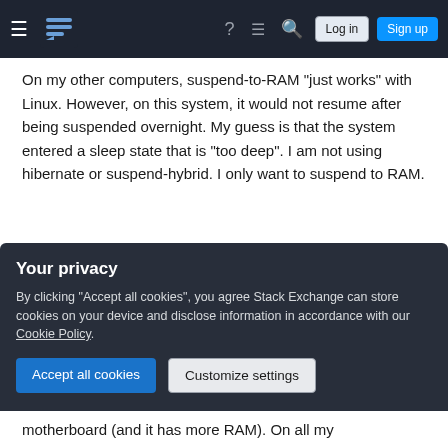Stack Exchange navigation bar with hamburger menu, logo, help, chat, search icons, Log in and Sign up buttons
On my other computers, suspend-to-RAM "just works" with Linux. However, on this system, it would not resume after being suspended overnight. My guess is that the system entered a sleep state that is "too deep". I am not using hibernate or suspend-hybrid. I only want to suspend to RAM.
In an earlier test of suspend, the system did resume after a few minutes of being suspended. All I had to do was hit any key on the keyboard. But after being suspended overnight, it was not responsive. I briefly pushed the power button. In response to that, the
Your privacy
By clicking "Accept all cookies", you agree Stack Exchange can store cookies on your device and disclose information in accordance with our Cookie Policy.
Accept all cookies
Customize settings
motherboard (and it has more RAM). On all my